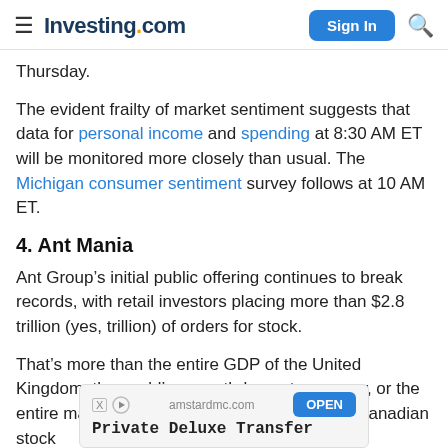Investing.com  Sign In
Thursday.
The evident frailty of market sentiment suggests that data for personal income and spending at 8:30 AM ET will be monitored more closely than usual. The Michigan consumer sentiment survey follows at 10 AM ET.
4. Ant Mania
Ant Group’s initial public offering continues to break records, with retail investors placing more than $2.8 trillion (yes, trillion) of orders for stock.
That’s more than the entire GDP of the United Kingdom, the world’s seventh-largest economy, or the entire market capitalization of the German or Canadian stock
[Figure (other): Advertisement banner: amstardmc.com - Private Deluxe Transfer - OPEN button]